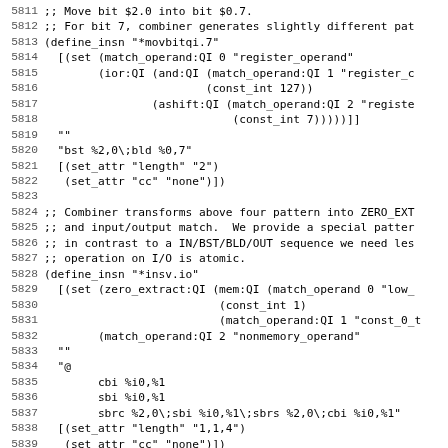Source code listing, lines 5811-5842, AVR GCC machine description (*.md) file showing movbitqi.7, insv.io, and insv.not.io define_insn patterns